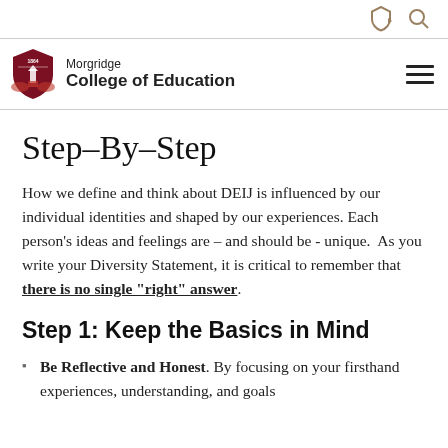Morgridge College of Education
Step-By-Step
How we define and think about DEIJ is influenced by our individual identities and shaped by our experiences. Each person’s ideas and feelings are – and should be - unique.  As you write your Diversity Statement, it is critical to remember that there is no single “right” answer.
Step 1: Keep the Basics in Mind
Be Reflective and Honest. By focusing on your firsthand experiences, understanding, and goals